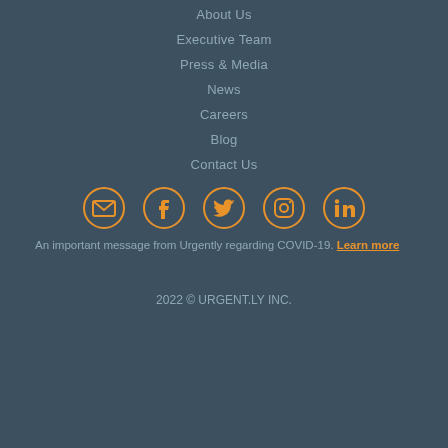About Us
Executive Team
Press & Media
News
Careers
Blog
Contact Us
[Figure (infographic): Row of five social media icon circles (email, Facebook, Twitter, Instagram, LinkedIn) in orange outline style on dark background]
An important message from Urgently regarding COVID-19. Learn more
2022 © URGENT.LY INC.